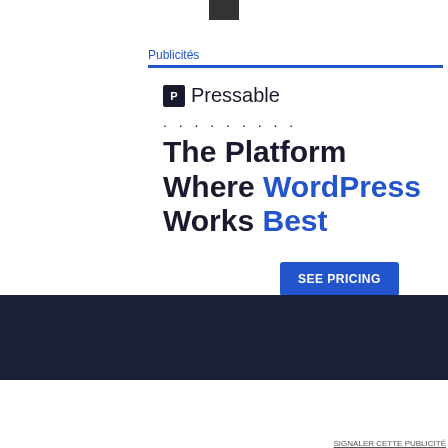Publicités
[Figure (logo): Pressable logo with dark square icon and 'Pressable' wordmark]
. . . . . . . . .
The Platform Where WordPress Works Best
SEE PRICING
Les cookies assurent le bon fonctionnement de nos services. En poursuivant votre navigation, vous acceptez l'utilisation des cookies.
Publicités
[Figure (illustration): Day One journaling app advertisement banner with blue background, app icons and tagline 'The only journaling app you'll ever need.']